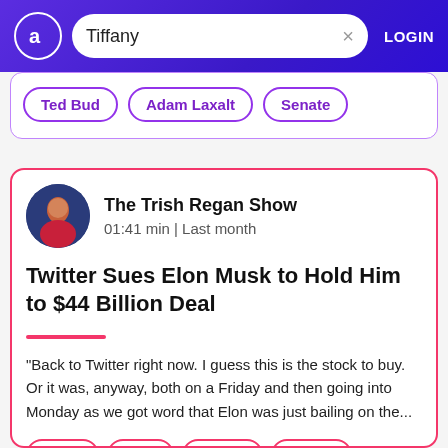Tiffany  LOGIN
Ted Bud
Adam Laxalt
Senate
Twitter Sues Elon Musk to Hold Him to $44 Billion Deal
The Trish Regan Show 01:41 min | Last month
"Back to Twitter right now. I guess this is the stock to buy. Or it was, anyway, both on a Friday and then going into Monday as we got word that Elon was just bailing on the...
Lvmh
Elon
Twitter
Tiffany